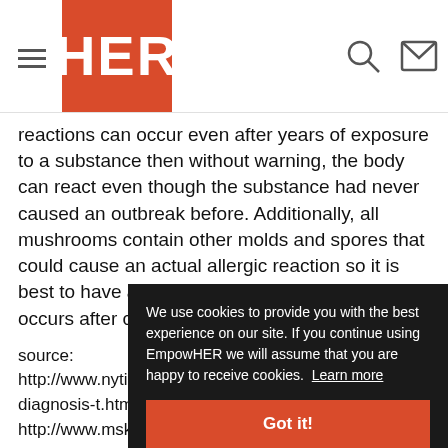HER
reactions can occur even after years of exposure to a substance then without warning, the body can react even though the substance had never caused an outbreak before. Additionally, all mushrooms contain other molds and spores that could cause an actual allergic reaction so it is best to have a doctor evaluate any rash that occurs after consuming mushrooms.
source:
http://www.nytimes.com/2011/02/20/magazine/20fob-diagnosis-t.html?ref=health
http://www.msk...
Michele is an R... woman's health... articles by Mich... www.helium.co...
We use cookies to provide you with the best experience on our site. If you continue using EmpowHER we will assume that you are happy to receive cookies. Learn more
Got it!